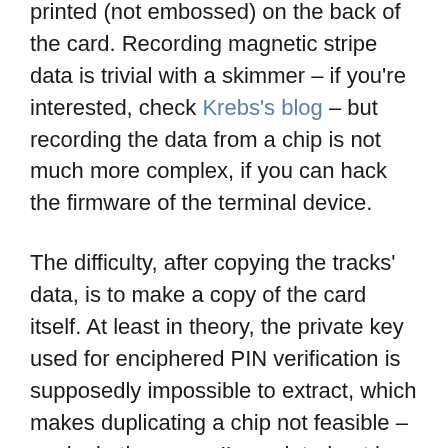printed (not embossed) on the back of the card. Recording magnetic stripe data is trivial with a skimmer – if you're interested, check Krebs's blog – but recording the data from a chip is not much more complex, if you can hack the firmware of the terminal device.
The difficulty, after copying the tracks' data, is to make a copy of the card itself. At least in theory, the private key used for enciphered PIN verification is supposedly impossible to extract, which makes duplicating a chip not feasible – again, in theory, as I've pointed out how many different CVM policies are configured on cards, and some of them do not require enciphered PIN (In particular Italian debit cards seem to be the worst offenders). Similarly, online transactions nowadays